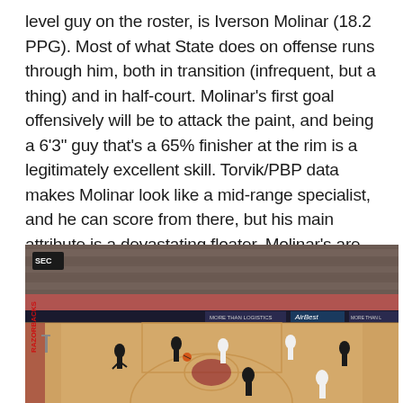level guy on the roster, is Iverson Molinar (18.2 PPG). Most of what State does on offense runs through him, both in transition (infrequent, but a thing) and in half-court. Molinar's first goal offensively will be to attack the paint, and being a 6'3" guy that's a 65% finisher at the rim is a legitimately excellent skill. Torvik/PBP data makes Molinar look like a mid-range specialist, and he can score from there, but his main attribute is a devastating floater. Molinar's are going down at a 51.9% rate on 54 attempts; it's one of the best floaters out there.
[Figure (photo): Basketball game in an arena with red and white team colors. Players on the court visible mid-play, crowd in the background, SEC logo visible on a banner, sponsor banners along the court including AirBest and More Than Logistics.]